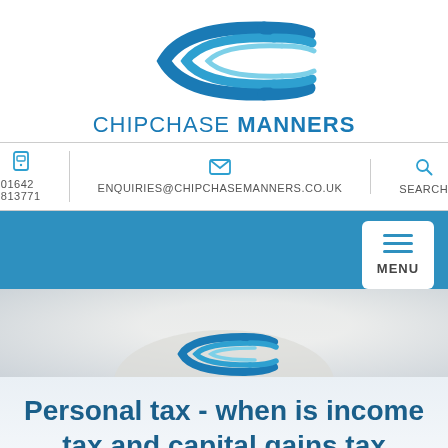[Figure (logo): Chipchase Manners logo: abstract swooping blue curved lines forming a C shape, with the text CHIPCHASE MANNERS below in teal/blue uppercase letters]
01642 813771
ENQUIRIES@CHIPCHASEMANNERS.CO.UK
SEARCH
MENU
[Figure (photo): Blurred background image with a hero section showing a light bokeh effect and muted grey-blue tones]
[Figure (logo): Chipchase Manners small logo watermark: abstract swooping blue curved lines]
Personal tax - when is income tax and capital gains tax